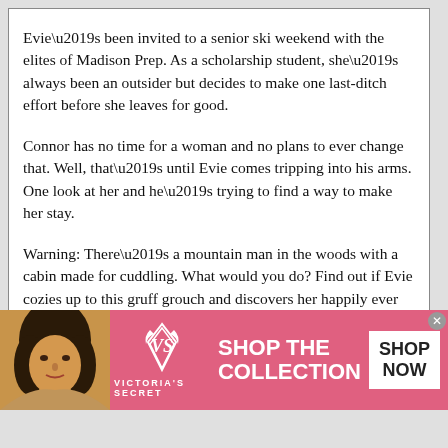Evie’s been invited to a senior ski weekend with the elites of Madison Prep. As a scholarship student, she’s always been an outsider but decides to make one last-ditch effort before she leaves for good.
Connor has no time for a woman and no plans to ever change that. Well, that’s until Evie comes tripping into his arms. One look at her and he’s trying to find a way to make her stay.
Warning: There’s a mountain man in the woods with a cabin made for cuddling. What would you do? Find out if Evie cozies up to this gruff grouch and discovers her happily ever after.
Books by Author:
Alexa Riley
[Figure (advertisement): Victoria’s Secret advertisement banner with pink background, woman’s face on left, VS logo in center, SHOP THE COLLECTION text, and SHOP NOW button on right.]